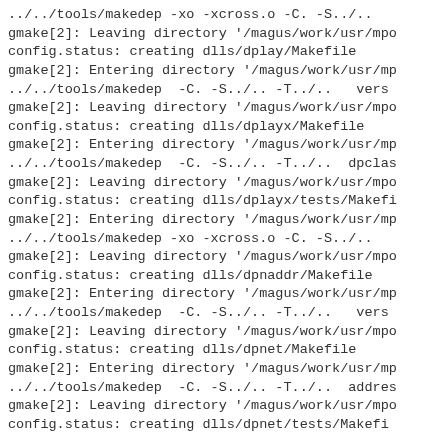../../tools/makedep -xo -xcross.o -C. -S../.. 
gmake[2]: Leaving directory '/magus/work/usr/mpo
config.status: creating dlls/dplay/Makefile
gmake[2]: Entering directory '/magus/work/usr/mp
../../tools/makedep  -C. -S../.. -T../..   vers
gmake[2]: Leaving directory '/magus/work/usr/mpo
config.status: creating dlls/dplayx/Makefile
gmake[2]: Entering directory '/magus/work/usr/mp
../../tools/makedep  -C. -S../.. -T../..  dpclas
gmake[2]: Leaving directory '/magus/work/usr/mpo
config.status: creating dlls/dplayx/tests/Makefi
gmake[2]: Entering directory '/magus/work/usr/mp
../../tools/makedep -xo -xcross.o -C. -S../.. 
gmake[2]: Leaving directory '/magus/work/usr/mpo
config.status: creating dlls/dpnaddr/Makefile
gmake[2]: Entering directory '/magus/work/usr/mp
../../tools/makedep  -C. -S../.. -T../..   vers
gmake[2]: Leaving directory '/magus/work/usr/mpo
config.status: creating dlls/dpnet/Makefile
gmake[2]: Entering directory '/magus/work/usr/mp
../../tools/makedep  -C. -S../.. -T../..  addres
gmake[2]: Leaving directory '/magus/work/usr/mpo
config.status: creating dlls/dpnet/tests/Makefi